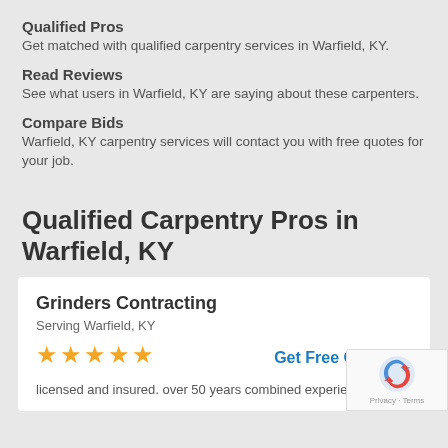Qualified Pros
Get matched with qualified carpentry services in Warfield, KY.
Read Reviews
See what users in Warfield, KY are saying about these carpenters.
Compare Bids
Warfield, KY carpentry services will contact you with free quotes for your job.
Qualified Carpentry Pros in Warfield, KY
Grinders Contracting
Serving Warfield, KY
★★★★★
Get Free Quotes »
licensed and insured. over 50 years combined experience